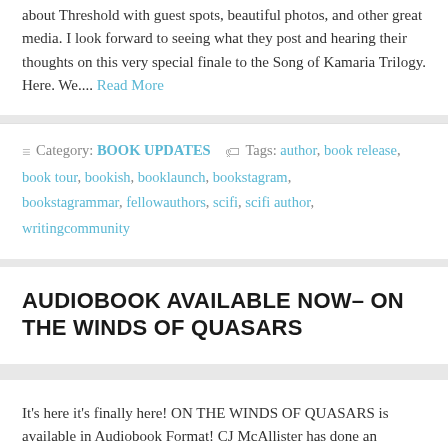about Threshold with guest spots, beautiful photos, and other great media. I look forward to seeing what they post and hearing their thoughts on this very special finale to the Song of Kamaria Trilogy. Here. We.... Read More
Category: BOOK UPDATES   Tags: author, book release, book tour, bookish, booklaunch, bookstagram, bookstagrammar, fellowauthors, scifi, scifi author, writingcommunity
AUDIOBOOK AVAILABLE NOW– ON THE WINDS OF QUASARS
It's here it's finally here! ON THE WINDS OF QUASARS is available in Audiobook Format! CJ McAllister has done an amazing job putting this audiobook together. I have already...